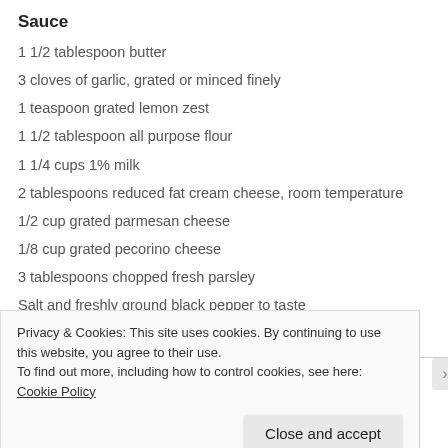Sauce
1 1/2 tablespoon butter
3 cloves of garlic, grated or minced finely
1 teaspoon grated lemon zest
1 1/2 tablespoon all purpose flour
1 1/4 cups 1% milk
2 tablespoons reduced fat cream cheese, room temperature
1/2 cup grated parmesan cheese
1/8 cup grated pecorino cheese
3 tablespoons chopped fresh parsley
Salt and freshly ground black pepper to taste
optional – sautéed mushrooms
Privacy & Cookies: This site uses cookies. By continuing to use this website, you agree to their use.
To find out more, including how to control cookies, see here: Cookie Policy
Close and accept